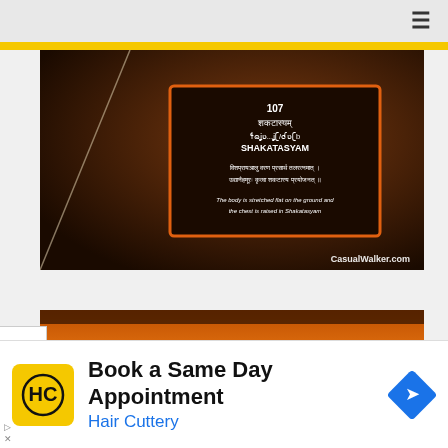≡
[Figure (photo): Photo of a museum/exhibition placard showing yoga pose 107 'SHAKATASYAM' with Sanskrit text and English description: 'The body is stretched flat on the ground and the chest is raised in Shakatasyam'. Watermark: CasualWalker.com]
[Figure (photo): Partial photo showing a warm amber/orange gradient surface, appears to be a continuation of an exhibit display.]
Book a Same Day Appointment
Hair Cuttery